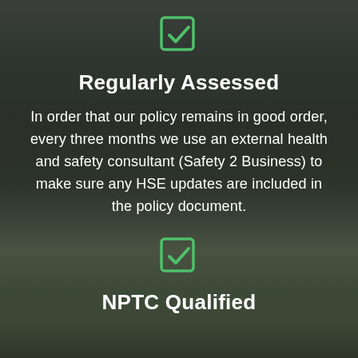[Figure (illustration): Green checkbox icon (square with checkmark)]
Regularly Assessed
In order that our policy remains in good order, every three months we use an external health and safety consultant (Safety 2 Business) to make sure any HSE updates are included in the policy document.
[Figure (illustration): Green checkbox icon (square with checkmark)]
NPTC Qualified